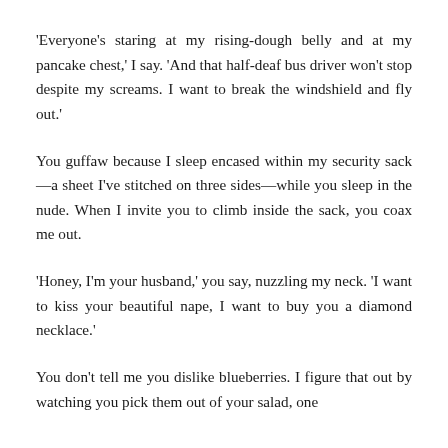'Everyone's staring at my rising-dough belly and at my pancake chest,' I say. 'And that half-deaf bus driver won't stop despite my screams. I want to break the windshield and fly out.'
You guffaw because I sleep encased within my security sack—a sheet I've stitched on three sides—while you sleep in the nude. When I invite you to climb inside the sack, you coax me out.
'Honey, I'm your husband,' you say, nuzzling my neck. 'I want to kiss your beautiful nape, I want to buy you a diamond necklace.'
You don't tell me you dislike blueberries. I figure that out by watching you pick them out of your salad, one